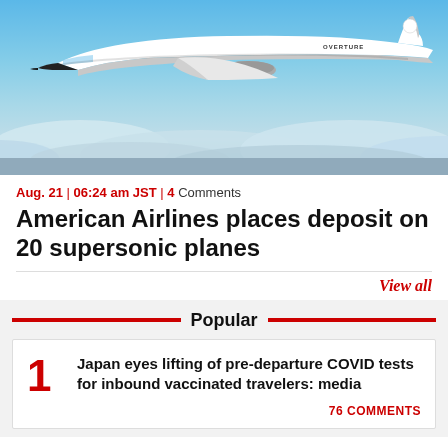[Figure (photo): A white supersonic jet airplane labeled OVERTURE flying above clouds against a blue sky.]
Aug. 21 | 06:24 am JST | 4 Comments
American Airlines places deposit on 20 supersonic planes
View all
Popular
1 Japan eyes lifting of pre-departure COVID tests for inbound vaccinated travelers: media
76 COMMENTS